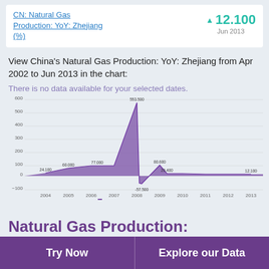CN: Natural Gas Production: YoY: Zhejiang (%)
12.100
Jun 2013
View China's Natural Gas Production: YoY: Zhejiang from Apr 2002 to Jun 2013 in the chart:
[Figure (line-chart): Line/area chart showing CN Natural Gas Production YoY Zhejiang % from 2004 to 2013 with a spike to 553.500 around 2008 and a drop to -57.500]
There is no data available for your selected dates.
Natural Gas Production:
Try Now
Explore our Data